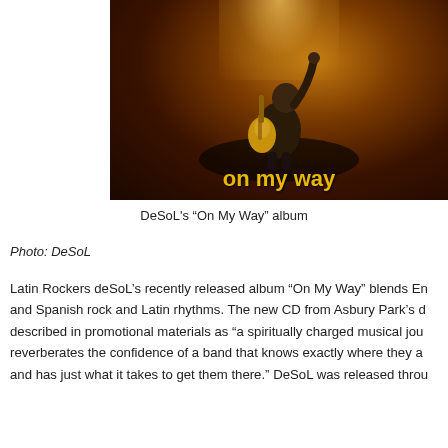[Figure (photo): Album cover for DeSoL's 'On My Way' — a performer with arm raised against a dark warm-lit background with the text 'on my way' in yellow at the bottom]
DeSoL's “On My Way” album
Photo: DeSoL
Latin Rockers deSoL’s recently released album “On My Way” blends English and Spanish rock and Latin rhythms. The new CD from Asbury Park’s d described in promotional materials as “a spiritually charged musical jou reverberates the confidence of a band that knows exactly where they a and has just what it takes to get them there.” DeSoL was released throu